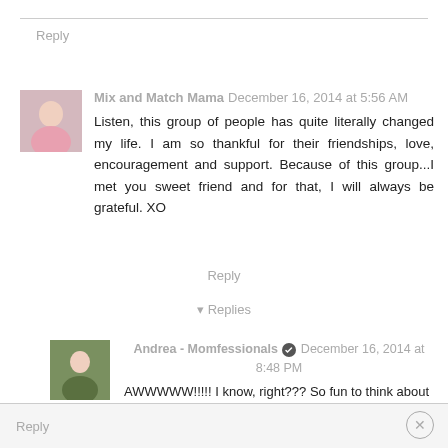Reply
Mix and Match Mama December 16, 2014 at 5:56 AM
Listen, this group of people has quite literally changed my life. I am so thankful for their friendships, love, encouragement and support. Because of this group...I met you sweet friend and for that, I will always be grateful. XO
Reply
▾ Replies
Andrea - Momfessionals December 16, 2014 at 8:48 PM
AWWWWW!!!!! I know, right??? So fun to think about where it all began!!! Love you, girly!
Reply